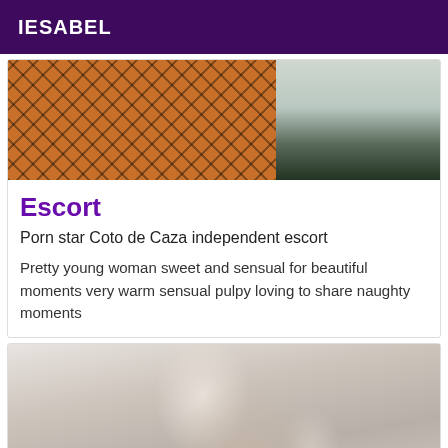IESABEL
[Figure (photo): Partial photo showing person wearing fishnet stockings in orange/tan colors, with dark object visible on right side]
Escort
Porn star Coto de Caza independent escort
Pretty young woman sweet and sensual for beautiful moments very warm sensual pulpy loving to share naughty moments
[Figure (photo): Photo of a young woman with light hair in a ponytail, head tilted down, arms raised behind her head, soft lighting]